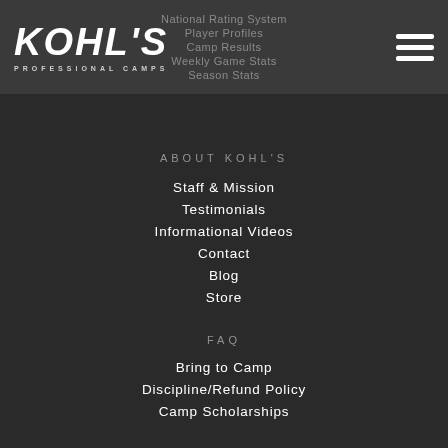Kohl's Professional Camps
National Rating System
Player Profiles
Camp Results
Weekly Game Stats
Season Stats
ABOUT KOHL'S
Staff & Mission
Testimonials
Informational Videos
Contact
Blog
Store
FAQ
Bring to Camp
Discipline/Refund Policy
Camp Scholarships